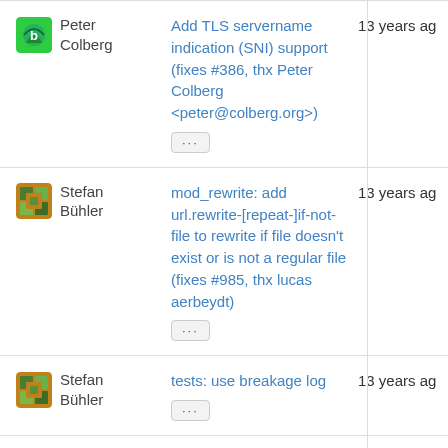Peter Colberg | Add TLS servername indication (SNI) support (fixes #386, thx Peter Colberg <peter@colberg.org>) | 13 years ago
Stefan Bühler | mod_rewrite: add url.rewrite-[repeat-]if-not-file to rewrite if file doesn't exist or is not a regular file (fixes #985, thx lucas aerbeydt) | 13 years ago
Stefan Bühler | tests: use breakage log | 13 years ago
Stefan Bühler | Remove X-Sendfile-Range feature; it will be replaced with something more | 13 years ago